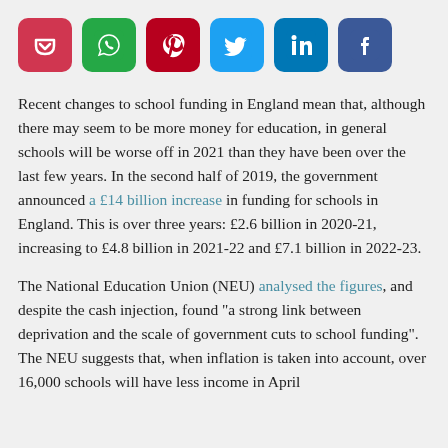[Figure (infographic): Row of six social media sharing icon buttons: Pocket (red), WhatsApp (green), Pinterest (dark red), Twitter (blue), LinkedIn (blue), Facebook (dark blue)]
Recent changes to school funding in England mean that, although there may seem to be more money for education, in general schools will be worse off in 2021 than they have been over the last few years. In the second half of 2019, the government announced a £14 billion increase in funding for schools in England. This is over three years: £2.6 billion in 2020-21, increasing to £4.8 billion in 2021-22 and £7.1 billion in 2022-23.
The National Education Union (NEU) analysed the figures, and despite the cash injection, found “a strong link between deprivation and the scale of government cuts to school funding”. The NEU suggests that, when inflation is taken into account, over 16,000 schools will have less income in April